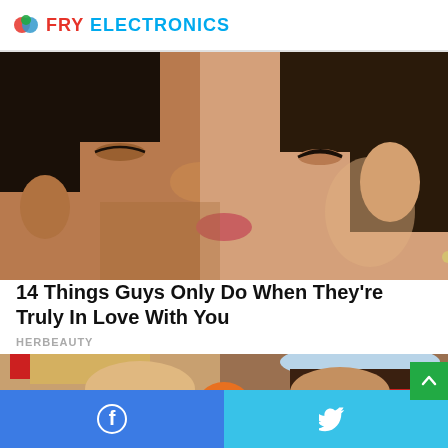FRY ELECTRONICS
[Figure (photo): Close-up of a man and woman about to kiss, faces very close together]
14 Things Guys Only Do When They're Truly In Love With You
HERBEAUTY
[Figure (photo): A young girl and a woman wearing a light blue hat at a formal event]
[Figure (infographic): Social media share bar with Facebook and Twitter buttons at bottom of page]